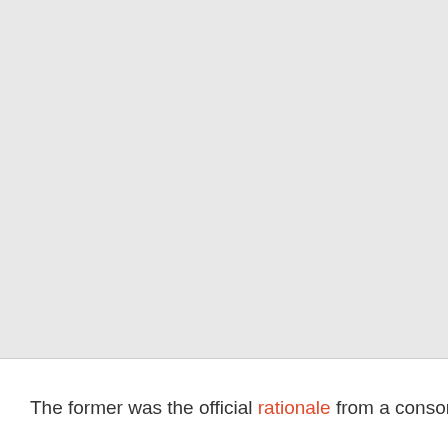The former was the official rationale from a consortium